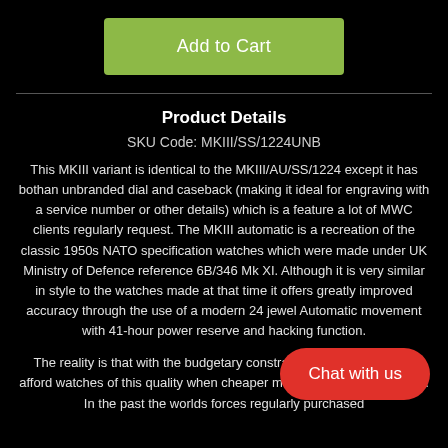[Figure (other): Green 'Add to Cart' button]
Product Details
SKU Code: MKIII/SS/1224UNB
This MKIII variant is identical to the MKIII/AU/SS/1224 except it has bothan unbranded dial and caseback (making it ideal for engraving with a service number or other details) which is a feature a lot of MWC clients regularly request. The MKIII automatic is a recreation of the classic 1950s NATO specification watches which were made under UK Ministry of Defence reference 6B/346 Mk XI. Although it is very similar in style to the watches made at that time it offers greatly improved accuracy through the use of a modern 24 jewel Automatic movement with 41-hour power reserve and hacking function.
The reality is that with the budgetary constra...ary forces could afford watches of this quality when cheaper models can meet the need. In the past the worlds forces regularly purchased
[Figure (other): Red 'Chat with us' button overlay]